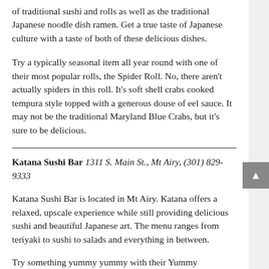of traditional sushi and rolls as well as the traditional Japanese noodle dish ramen. Get a true taste of Japanese culture with a taste of both of these delicious dishes.
Try a typically seasonal item all year round with one of their most popular rolls, the Spider Roll. No, there aren't actually spiders in this roll. It's soft shell crabs cooked tempura style topped with a generous douse of eel sauce. It may not be the traditional Maryland Blue Crabs, but it's sure to be delicious.
Katana Sushi Bar 1311 S. Main St., Mt Airy, (301) 829-9333
Katana Sushi Bar is located in Mt Airy. Katana offers a relaxed, upscale experience while still providing delicious sushi and beautiful Japanese art. The menu ranges from teriyaki to sushi to salads and everything in between.
Try something yummy yummy with their Yummy